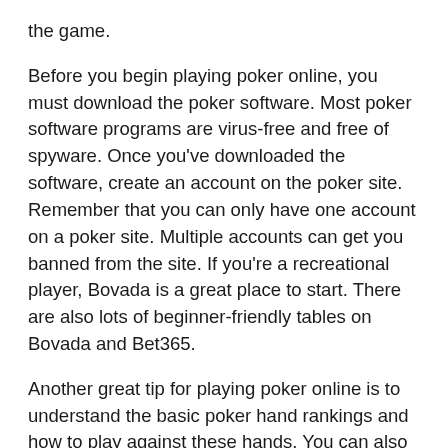the game.
Before you begin playing poker online, you must download the poker software. Most poker software programs are virus-free and free of spyware. Once you've downloaded the software, create an account on the poker site. Remember that you can only have one account on a poker site. Multiple accounts can get you banned from the site. If you're a recreational player, Bovada is a great place to start. There are also lots of beginner-friendly tables on Bovada and Bet365.
Another great tip for playing poker online is to understand the basic poker hand rankings and how to play against these hands. You can also learn how to play against specific opponents, such as a GTO player. A few players tend to fall into either camp, so it's important to know how to mix GTO and exploitive strategies to win the game. When the odds are stacked in your favor, you can improve